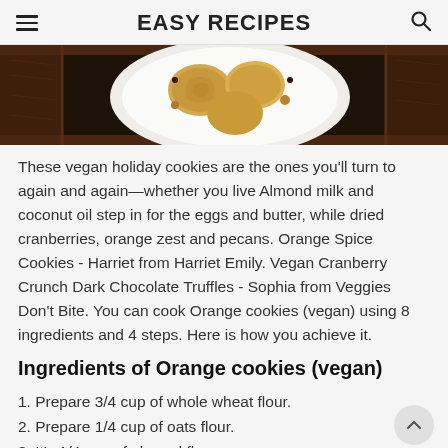EASY RECIPES
[Figure (photo): Top-down view of vegan holiday cookies in a white bowl on a dark wooden tray background]
These vegan holiday cookies are the ones you'll turn to again and again—whether you live Almond milk and coconut oil step in for the eggs and butter, while dried cranberries, orange zest and pecans. Orange Spice Cookies - Harriet from Harriet Emily. Vegan Cranberry Crunch Dark Chocolate Truffles - Sophia from Veggies Don't Bite. You can cook Orange cookies (vegan) using 8 ingredients and 4 steps. Here is how you achieve it.
Ingredients of Orange cookies (vegan)
1. Prepare 3/4 cup of whole wheat flour.
2. Prepare 1/4 cup of oats flour.
3. It's 1/4 cup of almond flour.